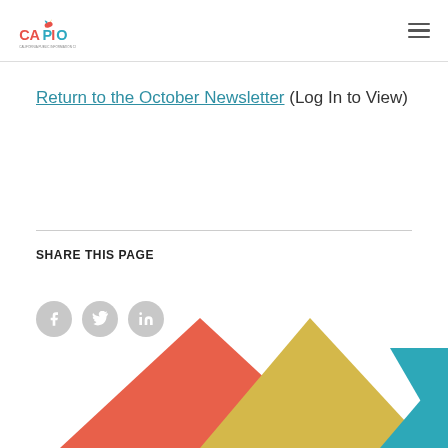CAPIO – California Public Information Officers
Return to the October Newsletter (Log In to View)
SHARE THIS PAGE
[Figure (illustration): Social sharing icons: Facebook (f), Twitter bird, LinkedIn (in) — grey circles with white icons]
[Figure (illustration): Decorative geometric triangles in coral/red, yellow/gold, and teal at the bottom of the page]